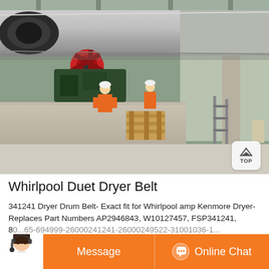[Figure (photo): Industrial rotary drum dryer or kiln installation inside a large warehouse/factory building. A large grey cylindrical drum is supported on a concrete foundation. Workers in safety vests and hard hats are working around machinery with gears/drive mechanisms. Wooden pallets and equipment are visible on the concrete floor.]
Whirlpool Duet Dryer Belt
341241 Dryer Drum Belt- Exact fit for Whirlpool amp Kenmore Dryer- Replaces Part Numbers AP2946843, W10127457, FSP341241, 80...65-694999-26000241241-26000249522-31001036-1...
[Figure (other): Bottom bar UI overlay with orange background. Left side shows a customer service avatar photo (woman in white shirt wearing headset). Center-left has a 'Message' button area. Right side shows an 'Online Chat' button with circular chat icon.]